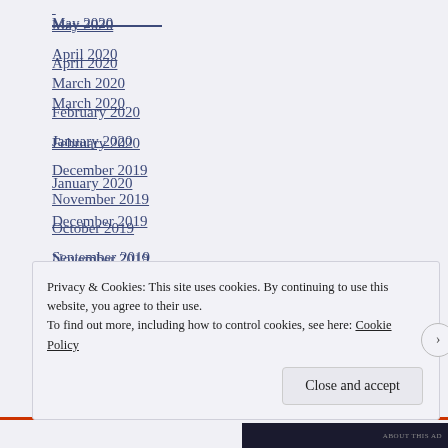May 2020
April 2020
March 2020
February 2020
January 2020
December 2019
November 2019
October 2019
September 2019
August 2019
July 2019
June 2019
May 2019
Privacy & Cookies: This site uses cookies. By continuing to use this website, you agree to their use.
To find out more, including how to control cookies, see here: Cookie Policy
Close and accept